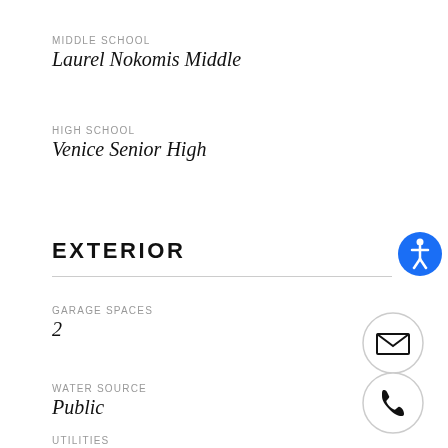MIDDLE SCHOOL
Laurel Nokomis Middle
HIGH SCHOOL
Venice Senior High
EXTERIOR
GARAGE SPACES
2
WATER SOURCE
Public
UTILITIES
BB/HS Internet Available, Cable